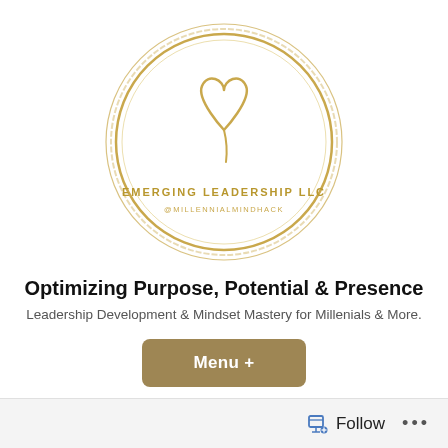[Figure (logo): Circular logo with gold/champagne double ring border, stylized heart/crown line art in center top, text 'EMERGING LEADERSHIP LLC' and '@MILLENNIALMINDHACK' inside the circle on white background]
Optimizing Purpose, Potential & Presence
Leadership Development & Mindset Mastery for Millenials & More.
Menu +
Follow ...